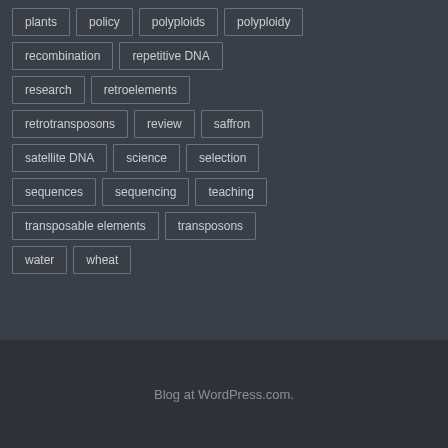plants
policy
polyploids
polyploidy
recombination
repetitive DNA
research
retroelements
retrotransposons
review
saffron
satellite DNA
science
selection
sequences
sequencing
teaching
transposable elements
transposons
water
wheat
Blog at WordPress.com.